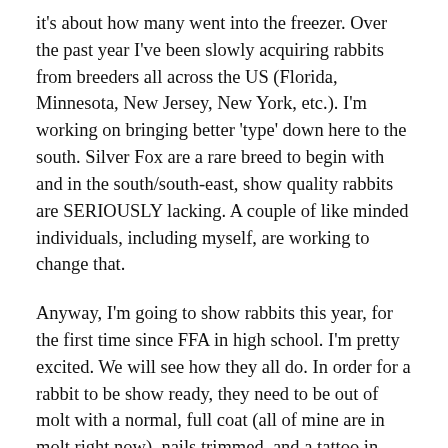it's about how many went into the freezer. Over the past year I've been slowly acquiring rabbits from breeders all across the US (Florida, Minnesota, New Jersey, New York, etc.). I'm working on bringing better 'type' down here to the south. Silver Fox are a rare breed to begin with and in the south/south-east, show quality rabbits are SERIOUSLY lacking. A couple of like minded individuals, including myself, are working to change that.
Anyway, I'm going to show rabbits this year, for the first time since FFA in high school. I'm pretty excited. We will see how they all do. In order for a rabbit to be show ready, they need to be out of molt with a normal, full coat (all of mine are in molt right now), nails trimmed, and a tattoo in their left ear. They should also be in good health and body condition. I'm working on bringing all of my rabbits up to snuff (those worth showing) to get them onto